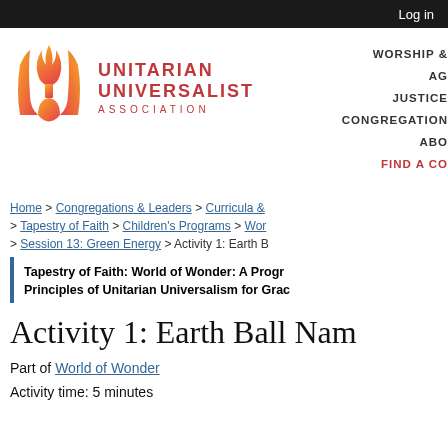Log in
[Figure (logo): Unitarian Universalist Association logo with flame icon and text: UNITARIAN UNIVERSALIST ASSOCIATION]
WORSHIP & | AG | JUSTICE | CONGREGATION | ABC | FIND A CO
Home > Congregations & Leaders > Curricula & > Tapestry of Faith > Children's Programs > Wor > Session 13: Green Energy > Activity 1: Earth B
Tapestry of Faith: World of Wonder: A Progr Principles of Unitarian Universalism for Gra
Activity 1: Earth Ball Nam
Part of World of Wonder
Activity time: 5 minutes